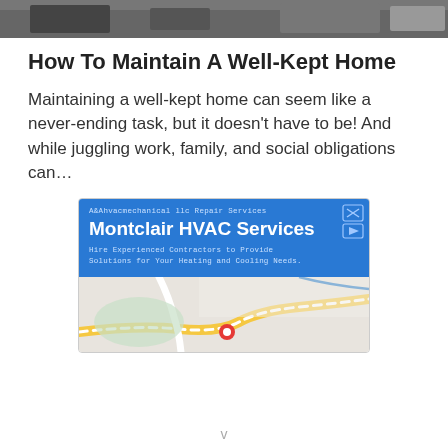[Figure (photo): Partial photo strip at top showing people in dark clothing]
How To Maintain A Well-Kept Home
Maintaining a well-kept home can seem like a never-ending task, but it doesn't have to be! And while juggling work, family, and social obligations can…
[Figure (screenshot): Advertisement for Montclair HVAC Services by A&Ahvacmechanical llc Repair Services. Blue banner with text 'Hire Experienced Contractors to Provide Solutions for Your Heating and Cooling Needs.' with a map view below showing a red location pin.]
v